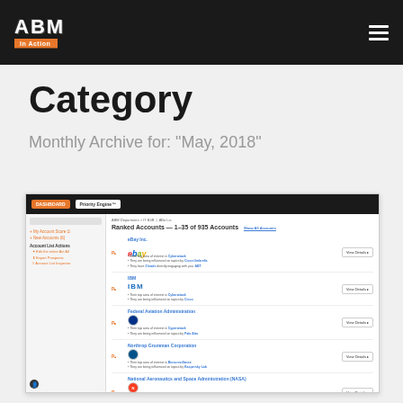ABM In Action
Category
Monthly Archive for: "May, 2018"
[Figure (screenshot): Screenshot of an ABM platform showing 'Ranked Accounts' list with companies including eBay Inc., IBM, Federal Aviation Administration, Northrop Grumman Corporation, National Aeronautics and Space Administration (NASA), United States Air Force, U.S. Department of Veterans Affairs. Each row shows company name, logo, bullet points about interests and influencers, and a 'View Details' button.]